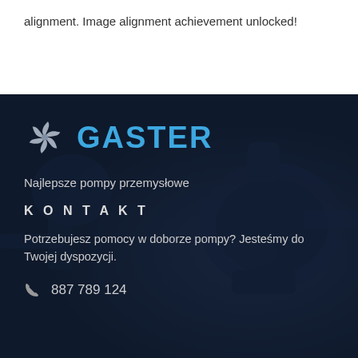alignment. Image alignment achievement unlocked!
[Figure (logo): Gaster industrial pumps logo: spinning fan/impeller icon in grey-white with company name GASTER in bold blue text]
Najlepsze pompy przemysłowe
KONTAKT
Potrzebujesz pomocy w doborze pompy? Jesteśmy do Twojej dyspozycji.
887 789 124